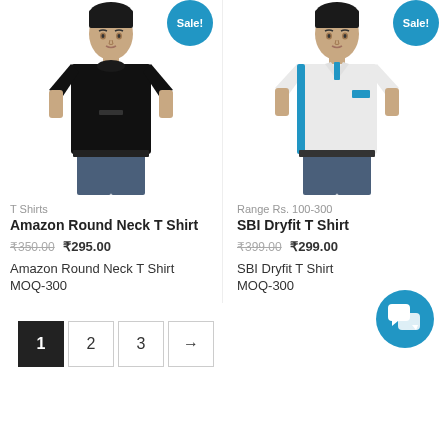[Figure (photo): Man wearing black round neck t-shirt with Sale badge]
[Figure (photo): Man wearing white polo t-shirt with Sale badge]
T Shirts
Range Rs. 100-300
Amazon Round Neck T Shirt
SBI Dryfit T Shirt
₹350.00 ₹295.00
₹399.00 ₹299.00
Amazon Round Neck T Shirt
SBI Dryfit T Shirt
MOQ-300
MOQ-300
1
2
3
→